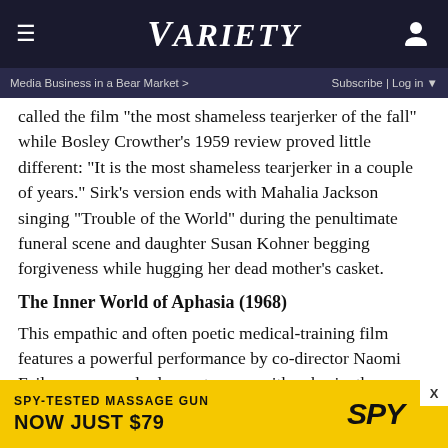VARIETY
Media Business in a Bear Market >   Subscribe | Log in
called the film "the most shameless tearjerker of the fall" while Bosley Crowther’s 1959 review proved little different: “It is the most shameless tearjerker in a couple of years.” Sirk’s version ends with Mahalia Jackson singing “Trouble of the World” during the penultimate funeral scene and daughter Susan Kohner begging forgiveness while hugging her dead mother’s casket.
The Inner World of Aphasia (1968)
This empathic and often poetic medical-training film features a powerful performance by co-director Naomi Feil as a nurse who learns to cope with aphasia, the inability to speak as a result of a brain injury. Feil, a social worker whose career has focused on communicating with language-
[Figure (screenshot): Advertisement banner: SPY-TESTED MASSAGE GUN NOW JUST $79 with SPY logo on yellow background]